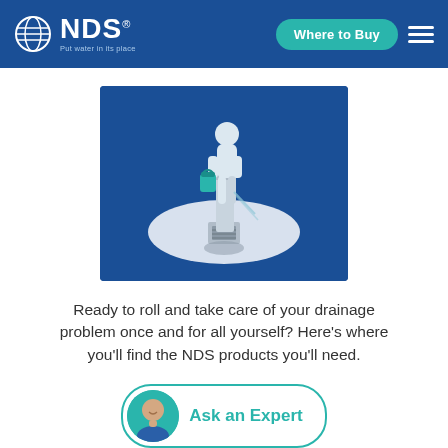NDS - Put water in its place | Where to Buy
[Figure (illustration): Isometric illustration of a person standing on a white oval platform next to a floor drain, holding a blue bucket, on a dark blue background. Represents drainage installation.]
Ready to roll and take care of your drainage problem once and for all yourself? Here's where you'll find the NDS products you'll need.
[Figure (other): Ask an Expert button with a circular avatar photo of a smiling bald man and the text 'Ask an Expert' in teal.]